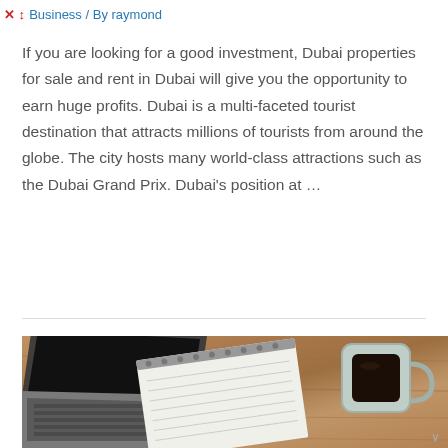Business / By raymond
If you are looking for a good investment, Dubai properties for sale and rent in Dubai will give you the opportunity to earn huge profits. Dubai is a multi-faceted tourist destination that attracts millions of tourists from around the globe. The city hosts many world-class attractions such as the Dubai Grand Prix. Dubai's position at …
Read More »
[Figure (photo): Overhead view of a laptop with open screen, a notepad, and a coffee cup on a wooden desk surface]